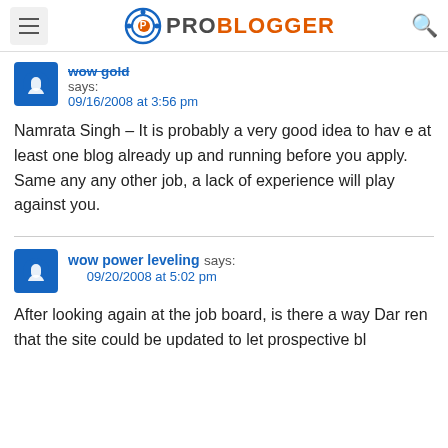ProBlogger
wow gold says:
09/16/2008 at 3:56 pm
Namrata Singh – It is probably a very good idea to have at least one blog already up and running before you apply. Same any any other job, a lack of experience will play against you.
wow power leveling says:
09/20/2008 at 5:02 pm
After looking again at the job board, is there a way Darren that the site could be updated to let prospective bl